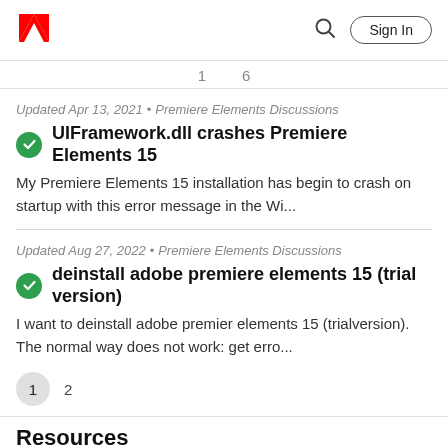Adobe logo | Search | Sign In
1   6
Updated Apr 13, 2021 • Premiere Elements Discussions
UIFramework.dll crashes Premiere Elements 15
My Premiere Elements 15 installation has begin to crash on startup with this error message in the Wi...
Updated Aug 27, 2022 • Premiere Elements Discussions
deinstall adobe premiere elements 15 (trial version)
I want to deinstall adobe premier elements 15 (trialversion). The normal way does not work: get erro...
1   2
Resources
Get Started